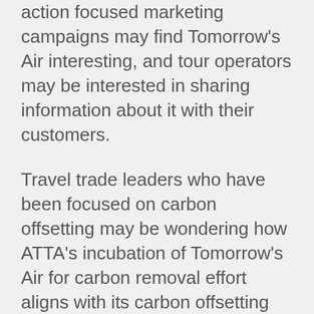action focused marketing campaigns may find Tomorrow's Air interesting, and tour operators may be interested in sharing information about it with their customers.
Travel trade leaders who have been focused on carbon offsetting may be wondering how ATTA's incubation of Tomorrow's Air for carbon removal effort aligns with its carbon offsetting effort. Carbon offsetting is still valuable and important; it is a good practice to calculate your company's emissions and it is worthwhile to direct funding to worthy projects